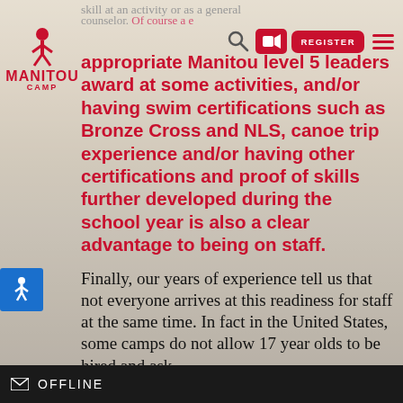skill at an activity or as a general counselor. Of course a...
[Figure (logo): Manitou Camp logo — red text with figure icon]
appropriate Manitou level 5 leaders award at some activities, and/or having swim certifications such as Bronze Cross and NLS, canoe trip experience and/or having other certifications and proof of skills further developed during the school year is also a clear advantage to being on staff.
Finally, our years of experience tell us that not everyone arrives at this readiness for staff at the same time. In fact in the United States, some camps do not allow 17 year olds to be hired and ask
OFFLINE